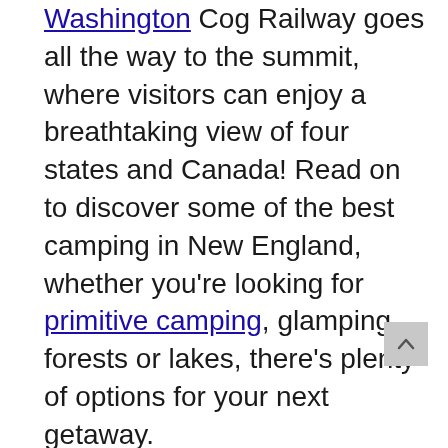Washington Cog Railway goes all the way to the summit, where visitors can enjoy a breathtaking view of four states and Canada! Read on to discover some of the best camping in New England, whether you're looking for primitive camping, glamping, forests or lakes, there's plenty of options for your next getaway.